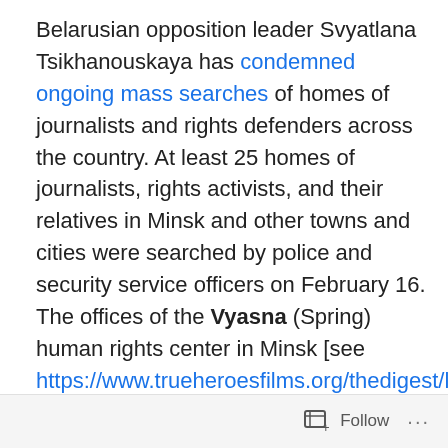Belarusian opposition leader Svyatlana Tsikhanouskaya has condemned ongoing mass searches of homes of journalists and rights defenders across the country. At least 25 homes of journalists, rights activists, and their relatives in Minsk and other towns and cities were searched by police and security service officers on February 16. The offices of the Vyasna (Spring) human rights center in Minsk [see https://www.trueheroesfilms.org/thedigest/laureates/7b5ccf60-bf81-11ea-b6a7-3533a3c74ec1] and the headquarters of the Association of Belarusian Journalists were also searched.
Tsikhanouskaya issued a statement on Telegram, saying that those who are looking for "criminals" among
Follow ...